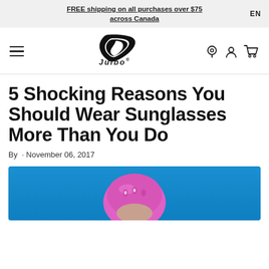FREE shipping on all purchases over $75 across Canada   EN
[Figure (logo): Julbo brand logo — stylized italic J/shield shape above the word 'Julbo' in italic font. Navigation bar with hamburger menu on left, location/account/cart icons on right.]
5 Shocking Reasons You Should Wear Sunglasses More Than You Do
By · November 06, 2017
[Figure (photo): Person wearing a pink climbing helmet against a bright blue background, partially visible at bottom of page.]